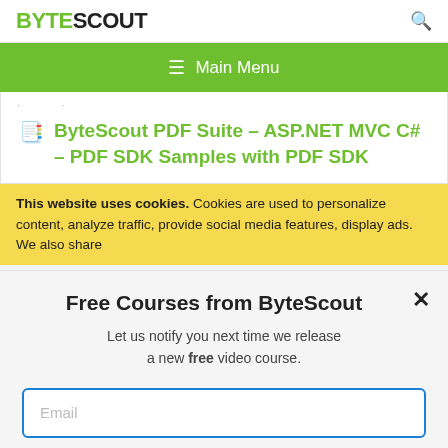BYTESCOUT
≡ Main Menu
ByteScout PDF Suite – ASP.NET MVC C# – PDF SDK Samples with PDF SDK
This website uses cookies. Cookies are used to personalize content, analyze traffic, provide social media features, display ads. We also share
Free Courses from ByteScout
Let us notify you next time we release a new free video course.
Email
SUBSCRIBE